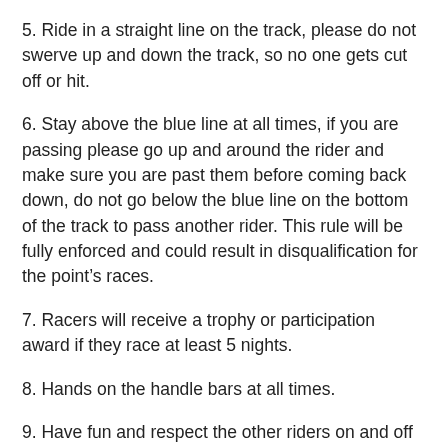5. Ride in a straight line on the track, please do not swerve up and down the track, so no one gets cut off or hit.
6. Stay above the blue line at all times, if you are passing please go up and around the rider and make sure you are past them before coming back down, do not go below the blue line on the bottom of the track to pass another rider. This rule will be fully enforced and could result in disqualification for the point’s races.
7. Racers will receive a trophy or participation award if they race at least 5 nights.
8. Hands on the handle bars at all times.
9. Have fun and respect the other riders on and off the track, foul language will not be tolerated. We would like to see all racers be friends and congratulate each other when